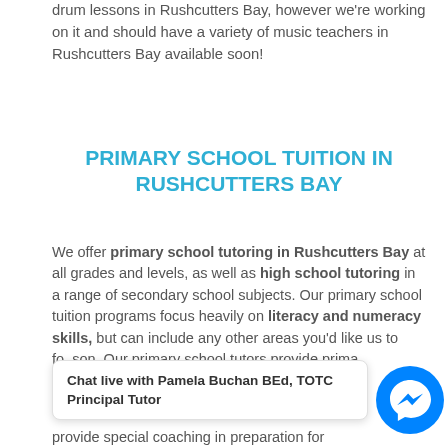drum lessons in Rushcutters Bay, however we're working on it and should have a variety of music teachers in Rushcutters Bay available soon!
PRIMARY SCHOOL TUITION IN RUSHCUTTERS BAY
We offer primary school tutoring in Rushcutters Bay at all grades and levels, as well as high school tutoring in a range of secondary school subjects. Our primary school tuition programs focus heavily on literacy and numeracy skills, but can include any other areas you'd like us to focus on. Our primary school tutors provide primary tutoring from prep through to kindergarten... provide special coaching in preparation for
Chat live with Pamela Buchan BEd, TOTC Principal Tutor